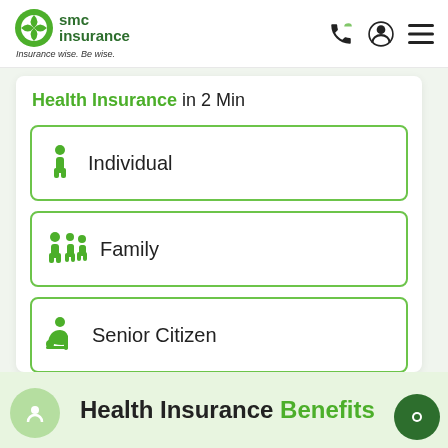[Figure (logo): SMC Insurance logo with green circular icon and tagline 'Insurance wise. Be wise.']
Health Insurance in 2 Min
Individual
Family
Senior Citizen
Health Insurance Benefits